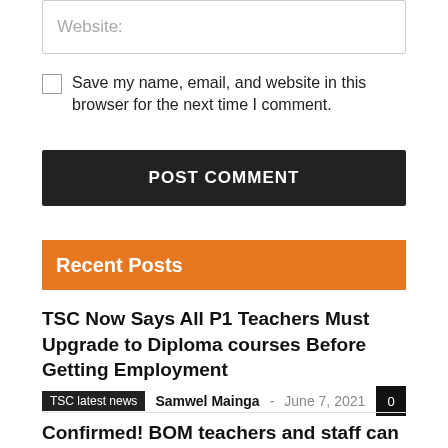Website:
Save my name, email, and website in this browser for the next time I comment.
POST COMMENT
Recent Posts
TSC Now Says All P1 Teachers Must Upgrade to Diploma courses Before Getting Employment
TSC latest news  Samwel Mainga  June 7, 2021  0
Confirmed! BOM teachers and staff can now smile all the way to the bank: